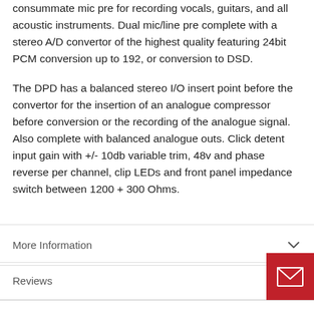consummate mic pre for recording vocals, guitars, and all acoustic instruments. Dual mic/line pre complete with a stereo A/D convertor of the highest quality featuring 24bit PCM conversion up to 192, or conversion to DSD.
The DPD has a balanced stereo I/O insert point before the convertor for the insertion of an analogue compressor before conversion or the recording of the analogue signal. Also complete with balanced analogue outs. Click detent input gain with +/- 10db variable trim, 48v and phase reverse per channel, clip LEDs and front panel impedance switch between 1200 + 300 Ohms.
More Information
Reviews
Pay by Finance